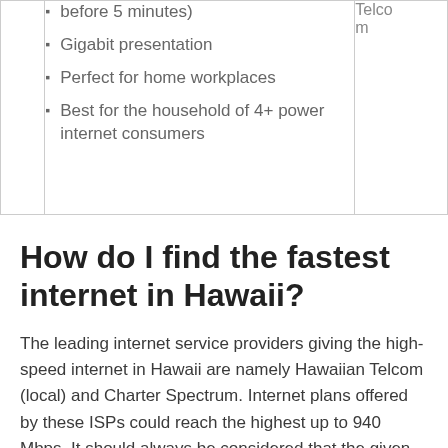|  | before 5 minutes)
• Gigabit presentation
• Perfect for home workplaces
• Best for the household of 4+ power internet consumers | Telcom |
How do I find the fastest internet in Hawaii?
The leading internet service providers giving the high-speed internet in Hawaii are namely Hawaiian Telcom (local) and Charter Spectrum. Internet plans offered by these ISPs could reach the highest up to 940 Mbps. It should always be considered that the given and access